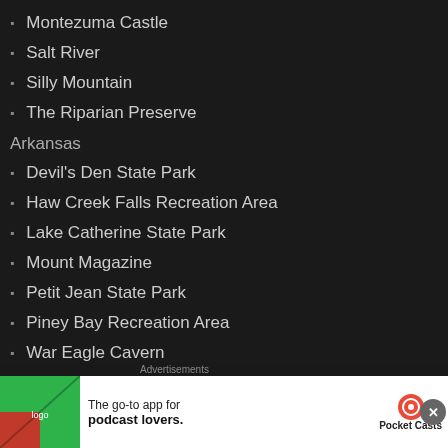Montezuma Castle
Salt River
Silly Mountain
The Riparian Preserve
Arkansas
Devil's Den State Park
Haw Creek Falls Recreation Area
Lake Catherine State Park
Mount Magazine
Petit Jean State Park
Piney Bay Recreation Area
War Eagle Cavern
California
Anza-Borrego State Park
Cabrillo National Monument
Cle... National ...
De...